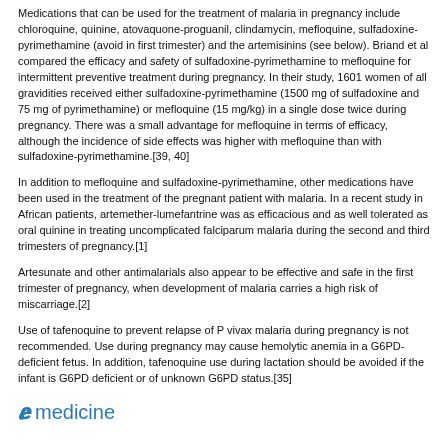Medications that can be used for the treatment of malaria in pregnancy include chloroquine, quinine, atovaquone-proguanil, clindamycin, mefloquine, sulfadoxine-pyrimethamine (avoid in first trimester) and the artemisinins (see below). Briand et al compared the efficacy and safety of sulfadoxine-pyrimethamine to mefloquine for intermittent preventive treatment during pregnancy. In their study, 1601 women of all gravidities received either sulfadoxine-pyrimethamine (1500 mg of sulfadoxine and 75 mg of pyrimethamine) or mefloquine (15 mg/kg) in a single dose twice during pregnancy. There was a small advantage for mefloquine in terms of efficacy, although the incidence of side effects was higher with mefloquine than with sulfadoxine-pyrimethamine.[39, 40]
In addition to mefloquine and sulfadoxine-pyrimethamine, other medications have been used in the treatment of the pregnant patient with malaria. In a recent study in African patients, artemether-lumefantrine was as efficacious and as well tolerated as oral quinine in treating uncomplicated falciparum malaria during the second and third trimesters of pregnancy.[1]
Artesunate and other antimalarials also appear to be effective and safe in the first trimester of pregnancy, when development of malaria carries a high risk of miscarriage.[2]
Use of tafenoquine to prevent relapse of P vivax malaria during pregnancy is not recommended. Use during pregnancy may cause hemolytic anemia in a G6PD-deficient fetus. In addition, tafenoquine use during lactation should be avoided if the infant is G6PD deficient or of unknown G6PD status.[35]
emedicine